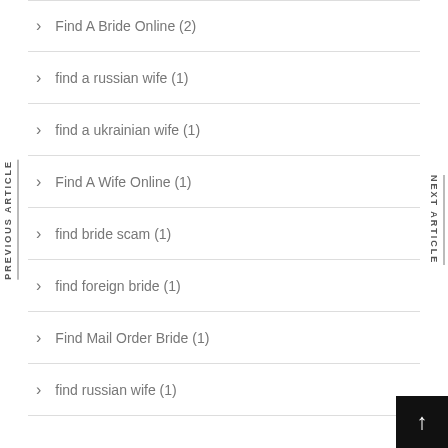Find A Bride Online (2)
find a russian wife (1)
find a ukrainian wife (1)
Find A Wife Online (1)
find bride scam (1)
find foreign bride (1)
Find Mail Order Bride (1)
find russian wife (1)